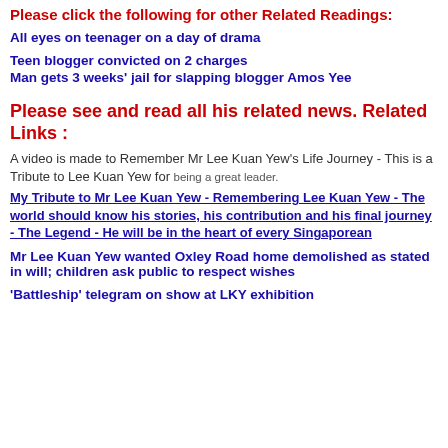Please click the following for other Related Readings:
All eyes on teenager on a day of drama
Teen blogger convicted on 2 charges
Man gets 3 weeks' jail for slapping blogger Amos Yee
Please see and read all his related news. Related Links :
A video is made to Remember Mr Lee Kuan Yew's Life Journey - This is a Tribute to Lee Kuan Yew for being a great leader.
My Tribute to Mr Lee Kuan Yew - Remembering Lee Kuan Yew - The world should know his stories, his contribution and his final journey - The Legend - He will be in the heart of every Singaporean
Mr Lee Kuan Yew wanted Oxley Road home demolished as stated in will; children ask public to respect wishes
'Battleship' telegram on show at LKY exhibition